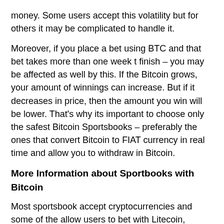money. Some users accept this volatility but for others it may be complicated to handle it.
Moreover, if you place a bet using BTC and that bet takes more than one week t finish – you may be affected as well by this. If the Bitcoin grows, your amount of winnings can increase. But if it decreases in price, then the amount you win will be lower. That's why its important to choose only the safest Bitcoin Sportsbooks – preferably the ones that convert Bitcoin to FIAT currency in real time and allow you to withdraw in Bitcoin.
More Information about Sportbooks with Bitcoin
Most sportsbook accept cryptocurrencies and some of the allow users to bet with Litecoin, Ethereum or other virtual currencies. Using these digital coins to bet may be also very positive for those individuals that bet using credit cards, which lose between 5 to 10 percent in fees.
Some sportsbooks offer promotions to those users that